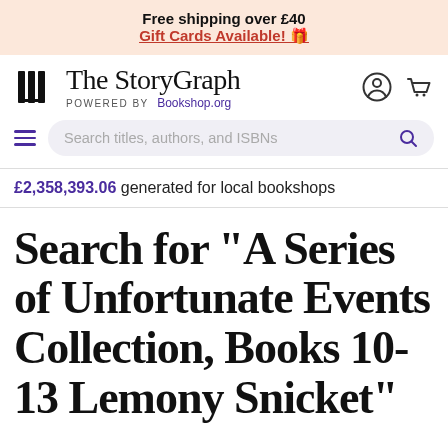Free shipping over £40
Gift Cards Available! 🎁
[Figure (logo): The StoryGraph logo with book icon, POWERED BY Bookshop.org text, and account/cart icons]
Search titles, authors, and ISBNs
£2,358,393.06 generated for local bookshops
Search for "A Series of Unfortunate Events Collection, Books 10-13 Lemony Snicket"